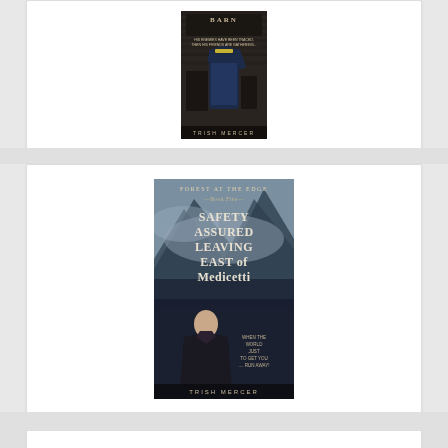[Figure (photo): Book cover for 'The Barn' by Trish Mercer. Text reads 'HIS ENEMIES HAVE BEEN TRACED, THEN HIS FRIENDS ARE GATHERING...' with an image of a man in a blue military uniform viewed from behind, looking at a wooden barn.]
[Figure (photo): Book cover for 'Forest at the Edge Book Five: Safety Assured Leaving East of Medicetti' by Trish Mercer. Shows a man in dark clothing against a mountain backdrop. Tagline: 'WHEN THE WORLD JUST TO GET YOU ... RUN AWAY!']